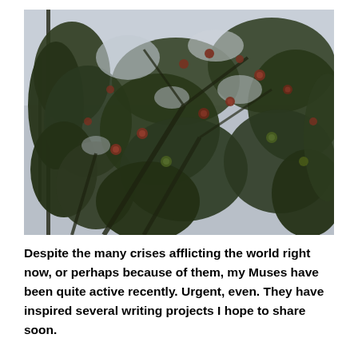[Figure (photo): Photograph looking up at a large leafy tree with small red and green apples visible among the branches, against an overcast grey sky.]
Despite the many crises afflicting the world right now, or perhaps because of them, my Muses have been quite active recently. Urgent, even. They have inspired several writing projects I hope to share soon.